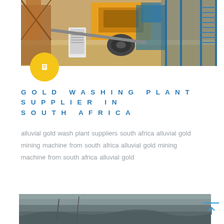[Figure (photo): Gold washing plant / mining equipment — conveyor belt, blue metal framework, yellow machinery on sandy ground]
GOLD WASHING PLANT SUPPLIER IN SOUTH AFRICA
alluvial gold wash plant suppliers south africa alluvial gold mining machine from south africa alluvial gold mining machine from south africa alluvial gold
[Figure (photo): Aerial or distant view of a mining site landscape, grey-brown terrain]